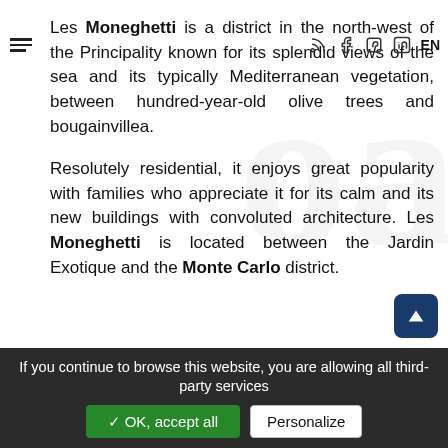Les Moneghetti is a district in the north-west of the Principality known for its splendid views of the sea and its typically Mediterranean vegetation, between hundred-year-old olive trees and bougainvillea.
Resolutely residential, it enjoys great popularity with families who appreciate it for its calm and its new buildings with convoluted architecture. Les Moneghetti is located between the Jardin Exotique and the Monte Carlo district.
If you continue to browse this website, you are allowing all third-party services ✓ OK, accept all Personalize